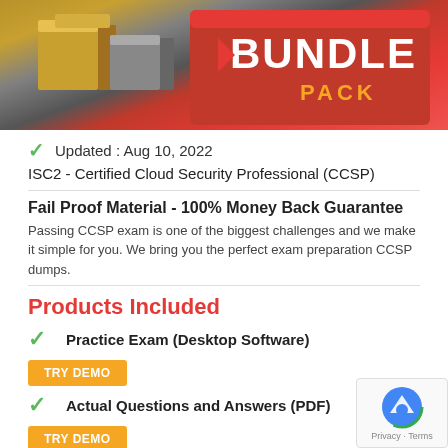[Figure (illustration): Bundle pack product image with red box and 3D blocks in gold/grey/black, showing 'BUNDLE PACK' text in large letters on red background]
Updated : Aug 10, 2022
ISC2 - Certified Cloud Security Professional (CCSP)
Fail Proof Material - 100% Money Back Guarantee
Passing CCSP exam is one of the biggest challenges and we make it simple for you. We bring you the perfect exam preparation CCSP dumps.
Products Included
Practice Exam (Desktop Software)
TRY DEMO
Actual Questions and Answers (PDF)
TRY DEMO
Free Updates: 90 days   Usage: 2 PCs